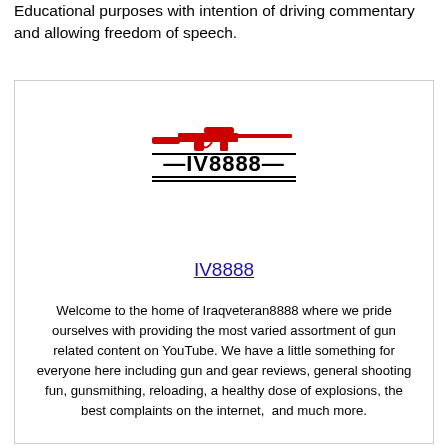Educational purposes with intention of driving commentary and allowing freedom of speech.
[Figure (logo): IV8888 logo with a red rifle silhouette above bold text 'IV8888' flanked by horizontal lines]
IV8888
Welcome to the home of Iraqveteran8888 where we pride ourselves with providing the most varied assortment of gun related content on YouTube. We have a little something for everyone here including gun and gear reviews, general shooting fun, gunsmithing, reloading, a healthy dose of explosions, the best complaints on the internet,  and much more.